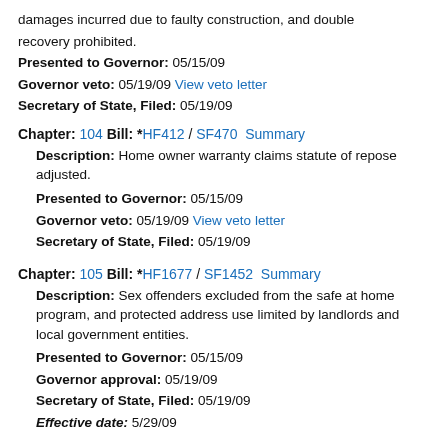damages incurred due to faulty construction, and double recovery prohibited.
Presented to Governor: 05/15/09
Governor veto: 05/19/09 View veto letter
Secretary of State, Filed: 05/19/09
Chapter: 104 Bill: *HF412 / SF470 Summary
Description: Home owner warranty claims statute of repose adjusted.
Presented to Governor: 05/15/09
Governor veto: 05/19/09 View veto letter
Secretary of State, Filed: 05/19/09
Chapter: 105 Bill: *HF1677 / SF1452 Summary
Description: Sex offenders excluded from the safe at home program, and protected address use limited by landlords and local government entities.
Presented to Governor: 05/15/09
Governor approval: 05/19/09
Secretary of State, Filed: 05/19/09
Effective date: 5/29/09